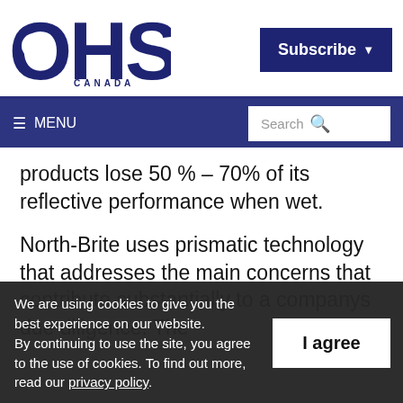[Figure (logo): OHS Canada logo — large bold dark navy letters OHS with CANADA in small caps below]
Subscribe ▾
☰ MENU   Search 🔍
products lose 50 % – 70% of its reflective performance when wet.
North-Brite uses prismatic technology that addresses the main concerns that contribute substantially to a companys due diligence. The
We are using cookies to give you the best experience on our website.
By continuing to use the site, you agree to the use of cookies. To find out more, read our privacy policy.
I agree